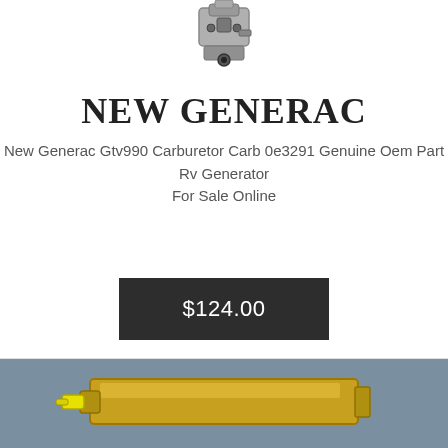[Figure (photo): Carburetor part photo at top of card]
NEW GENERAC
New Generac Gtv990 Carburetor Carb 0e3291 Genuine Oem Part Rv Generator For Sale Online
$124.00
[Figure (photo): Gold-colored rectangular generator part on blue background]